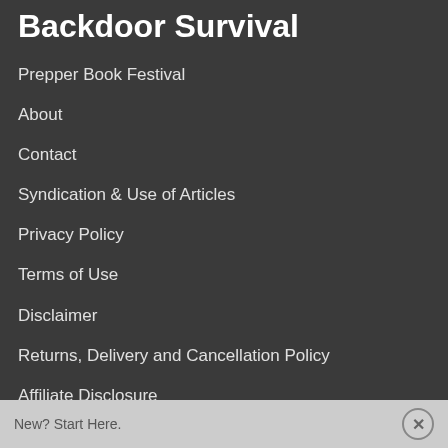Backdoor Survival
Prepper Book Festival
About
Contact
Syndication & Use of Articles
Privacy Policy
Terms of Use
Disclaimer
Returns, Delivery and Cancellation Policy
Affiliate Disclosure
Most Popular
New? Start Here.